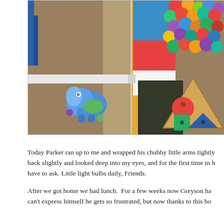[Figure (photo): Classroom floor photo showing children's educational toys including a wooden shape puzzle (triangle with circle, square, triangle pieces) and a blue elephant toy. Colorful wall decorations with pom-poms and geometric shapes are visible in the background.]
Today Parker ran up to me and wrapped his chubby little arms tightly back slightly and looked deep into my eyes, and for the first time in h have to ask. Little light bulbs daily, Friends.
After we got home we had lunch.  For a few weeks now Greyson ha can't express himself he gets so frustrated, but now thanks to this bo